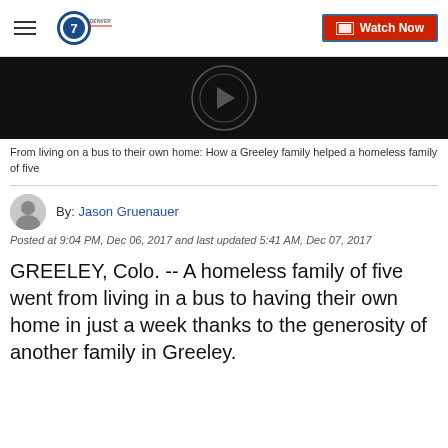Denver7 — Watch Now
[Figure (screenshot): Video thumbnail with dark background showing a circular logo/play button in the center]
From living on a bus to their own home: How a Greeley family helped a homeless family of five
By: Jason Gruenauer
Posted at 9:04 PM, Dec 06, 2017 and last updated 5:41 AM, Dec 07, 2017
GREELEY, Colo. -- A homeless family of five went from living in a bus to having their own home in just a week thanks to the generosity of another family in Greeley.